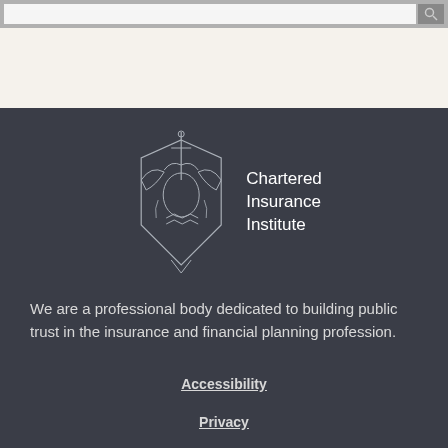[Figure (logo): Chartered Insurance Institute logo with heraldic crest and text 'Chartered Insurance Institute']
We are a professional body dedicated to building public trust in the insurance and financial planning profession.
Accessibility
Privacy